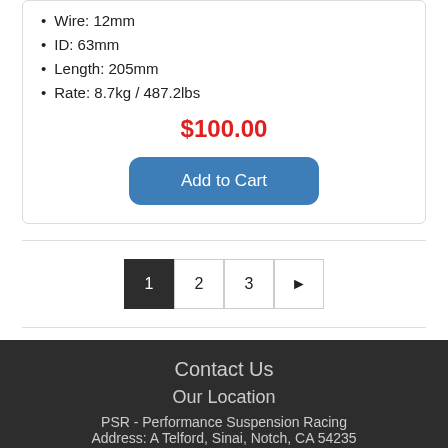Wire: 12mm
ID: 63mm
Length: 205mm
Rate: 8.7kg / 487.2lbs
$100.00
Add to Cart
1 2 3 ▶
Contact Us
Our Location
PSR - Performance Suspension Racing
Address: A Telford, Sinai, Notch, CA 54235